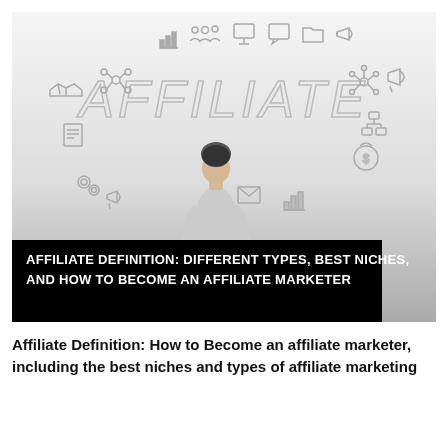[Figure (photo): A person viewed from behind standing in front of a white wall with the word AFFILIATE written in large hand-drawn letters, surrounded by business and marketing doodle icons (handshake, network nodes, people, charts, megaphone, gears, envelope, bar chart, dollar sign, organizational chart icons). A black overlay banner at the bottom reads: AFFILIATE DEFINITION: DIFFERENT TYPES, BEST NICHES, AND HOW TO BECOME AN AFFILIATE MARKETER]
Affiliate Definition: How to Become an affiliate marketer, including the best niches and types of affiliate marketing